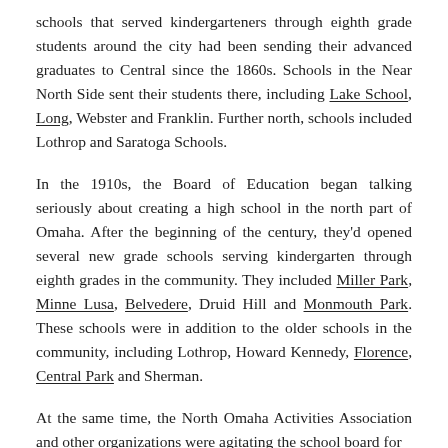schools that served kindergarteners through eighth grade students around the city had been sending their advanced graduates to Central since the 1860s. Schools in the Near North Side sent their students there, including Lake School, Long, Webster and Franklin. Further north, schools included Lothrop and Saratoga Schools.
In the 1910s, the Board of Education began talking seriously about creating a high school in the north part of Omaha. After the beginning of the century, they'd opened several new grade schools serving kindergarten through eighth grades in the community. They included Miller Park, Minne Lusa, Belvedere, Druid Hill and Monmouth Park. These schools were in addition to the older schools in the community, including Lothrop, Howard Kennedy, Florence, Central Park and Sherman.
At the same time, the North Omaha Activities Association and other organizations were agitating the school board for